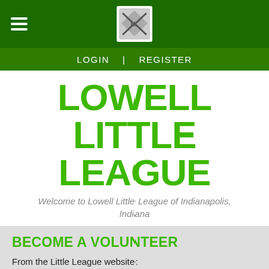≡  [logo]  LOGIN | REGISTER
LOWELL LITTLE LEAGUE
Welcome to Lowell Little League of Indianapolis, Indiana
BECOME A VOLUNTEER
From the Little League website:
Why Should I Become a Volunteer?
Little League Baseball and Softball is an organization designed to build good citizens. It is a program of leadership, preparing today's youth to be tomorrow's leaders. At the local level, Little League relies on a